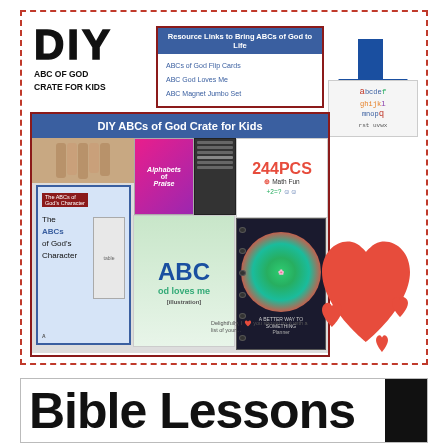[Figure (infographic): DIY ABC of God Crate for Kids promotional collage with dashed red border. Contains: DIY title text, Resource Links to Bring ABCs of God to Life box with blue header and linked items, blue arrow, alphabet storage bin photo, DIY ABCs of God Crate for Kids blue header collage box containing book covers, ABC magnets, spiral notebooks, hearts decoration, and credit text.]
[Figure (infographic): Bible Lessons banner with large bold text and black bar on right side.]